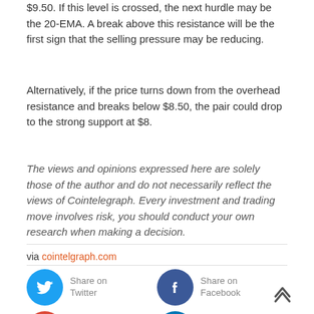$9.50. If this level is crossed, the next hurdle may be the 20-EMA. A break above this resistance will be the first sign that the selling pressure may be reducing.
Alternatively, if the price turns down from the overhead resistance and breaks below $8.50, the pair could drop to the strong support at $8.
The views and opinions expressed here are solely those of the author and do not necessarily reflect the views of Cointelegraph. Every investment and trading move involves risk, you should conduct your own research when making a decision.
via cointelgraph.com
[Figure (infographic): Social sharing buttons: Share on Twitter (blue circle with bird icon), Share on Facebook (dark blue circle with f icon), Share on Google+ (red circle with g+ icon), Share on LinkedIn (teal circle with in icon)]